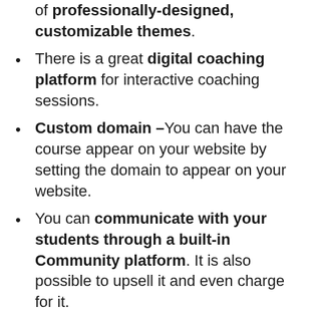of professionally-designed, customizable themes.
There is a great digital coaching platform for interactive coaching sessions.
Custom domain –You can have the course appear on your website by setting the domain to appear on your website.
You can communicate with your students through a built-in Community platform. It is also possible to upsell it and even charge for it.
You can offer students a payment option like a monthly payment plan for an expensive course.
The possibility exists to offer a